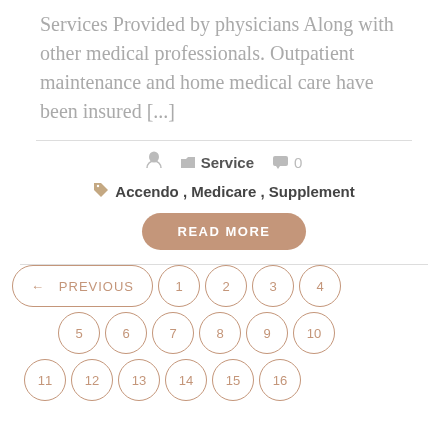Services Provided by physicians Along with other medical professionals. Outpatient maintenance and home medical care have been insured [...]
Service   0
Accendo , Medicare , Supplement
READ MORE
← PREVIOUS  1  2  3  4  5  6  7  8  9  10  11  12  13  14  15  16